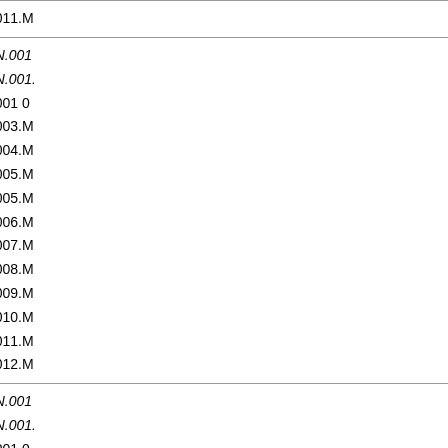|  |  |  |  |
| --- | --- | --- | --- |
|  |  |  | 011.M... |
| QP.3 | 13 | N.001...
N.001...
001 0...
003.M...
004.M...
005.M...
005.M...
006.M...
007.M...
008.M...
009.M...
010.M...
011.M...
012.M... |
| QP.4 | 12 | N.001...
N.001...
001 0...
003.M... |